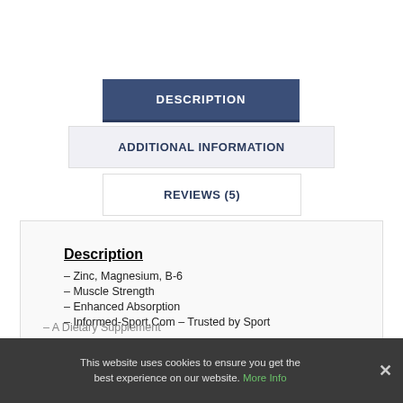DESCRIPTION
ADDITIONAL INFORMATION
REVIEWS (5)
Description
– Zinc, Magnesium, B-6
– Muscle Strength
– Enhanced Absorption
– Informed-Sport.Com – Trusted by Sport
– A Dietary Supplement
– Informed-Choice.Org – Trusted by Sport
– Steroid Free
– Kosher – Contains Gelatin
This website uses cookies to ensure you get the best experience on our website. More Info